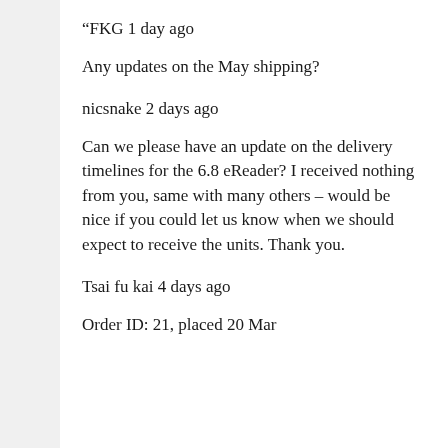“FKG 1 day ago
Any updates on the May shipping?
nicsnake 2 days ago
Can we please have an update on the delivery timelines for the 6.8 eReader? I received nothing from you, same with many others – would be nice if you could let us know when we should expect to receive the units. Thank you.
Tsai fu kai 4 days ago
Order ID: 21, placed 20 Mar